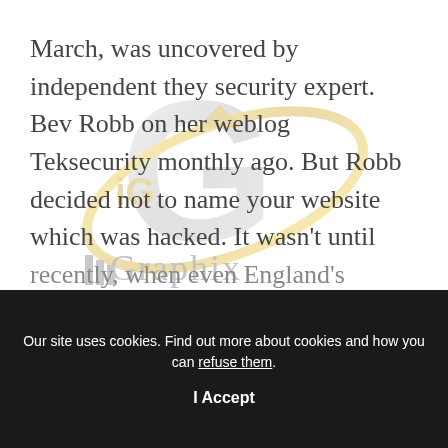March, was uncovered by independent they security expert. Bev Robb on her weblog Teksecurity monthly ago. But Robb decided not to name your website which was hacked. It wasn't until recently, when even England's
[Figure (logo): iGGraphix watermark logo with silver G and gold orbital ring and graduation cap]
Our site uses cookies. Find out more about cookies and how you can refuse them.
I Accept